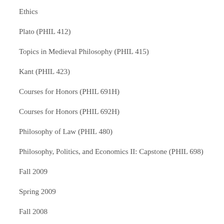Ethics
Plato (PHIL 412)
Topics in Medieval Philosophy (PHIL 415)
Kant (PHIL 423)
Courses for Honors (PHIL 691H)
Courses for Honors (PHIL 692H)
Philosophy of Law (PHIL 480)
Philosophy, Politics, and Economics II: Capstone (PHIL 698)
Fall 2009
Spring 2009
Fall 2008